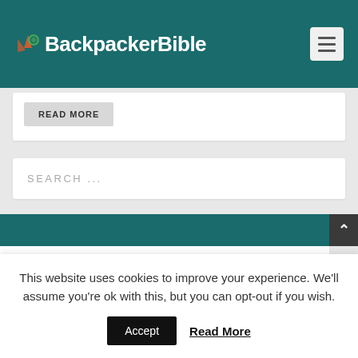Backpacker Bible
READ MORE
SEARCH ...
This website uses cookies to improve your experience. We'll assume you're ok with this, but you can opt-out if you wish.
Accept  Read More